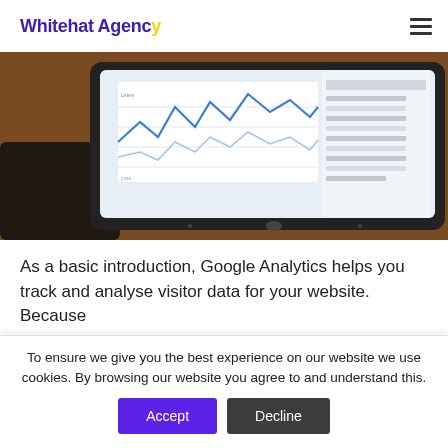Whitehat Agency
[Figure (photo): Tablet device on a wooden desk showing a line chart/analytics dashboard (Google Analytics style), with a smartphone in the background.]
As a basic introduction, Google Analytics helps you track and analyse visitor data for your website. Because
To ensure we give you the best experience on our website we use cookies. By browsing our website you agree to and understand this.